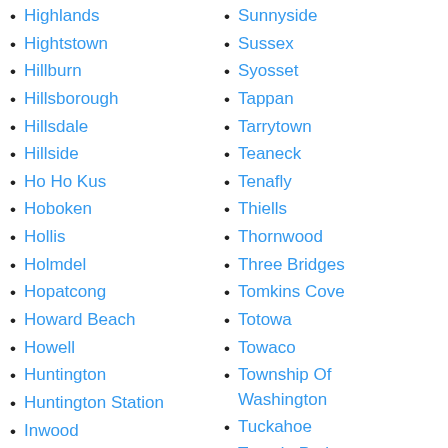Highlands
Hightstown
Hillburn
Hillsborough
Hillsdale
Hillside
Ho Ho Kus
Hoboken
Hollis
Holmdel
Hopatcong
Howard Beach
Howell
Huntington
Huntington Station
Inwood
Irvington
Iselin
Sunnyside
Sussex
Syosset
Tappan
Tarrytown
Teaneck
Tenafly
Thiells
Thornwood
Three Bridges
Tomkins Cove
Totowa
Towaco
Township Of Washington
Tuckahoe
Tuxedo Park
Union